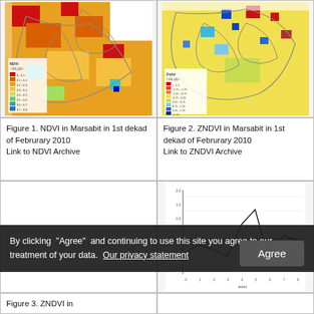[Figure (map): NDVI map of Marsabit in 1st dekad of February 2010, colorized raster with gray overlay boundaries. Legend shows NDVI <VALUE> ranging from 0-0.1 (red) to 0.9-1.0 (dark blue).]
[Figure (map): ZNDVI map of Marsabit in 1st dekad of February 2010, colorized raster with gray boundary overlays. Legend shows ZNdvi <VALUE> ranging from < -1.0 (dark red) to > 1.75 (dark blue).]
Figure 1. NDVI in Marsabit in 1st dekad of Februrary 2010 Link to NDVI Archive
Figure 2. ZNDVI in Marsabit in 1st dekad of Februrary 2010 Link to ZNDVI Archive
[Figure (other): Empty left cell in third row]
[Figure (line-chart): Line chart showing ZNDVI values over time (dekads). The line fluctuates with a peak around dekad 5-6, then dips and rises again. Y-axis shows values roughly from -3 to 2, x-axis shows dekad numbers.]
Figure 3. ZNDVI in
By clicking “Agree” and continuing to use this site you agree to our treatment of your data. Our privacy statement